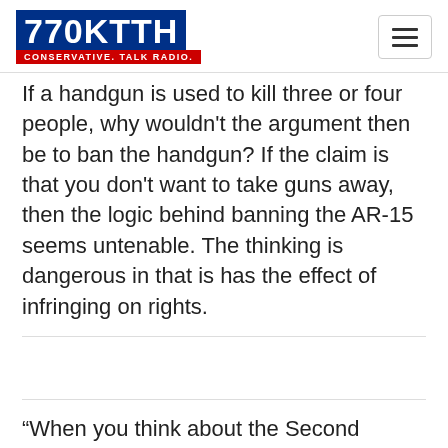770 KTTH — Conservative. Talk Radio.
If a handgun is used to kill three or four people, why wouldn't the argument then be to ban the handgun? If the claim is that you don't want to take guns away, then the logic behind banning the AR-15 seems untenable. The thinking is dangerous in that is has the effect of infringing on rights.
“When you think about the Second